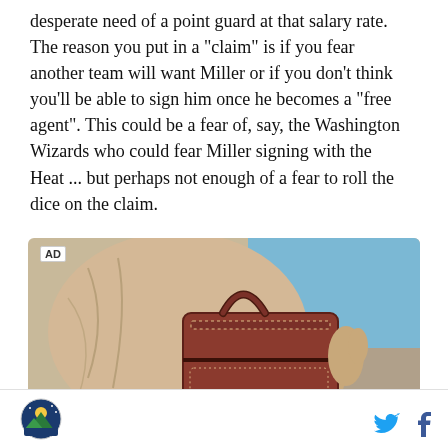desperate need of a point guard at that salary rate. The reason you put in a "claim" is if you fear another team will want Miller or if you don't think you'll be able to sign him once he becomes a "free agent". This could be a fear of, say, the Washington Wizards who could fear Miller signing with the Heat ... but perhaps not enough of a fear to roll the dice on the claim.
[Figure (photo): Advertisement image showing a person holding a brown leather handbag against a sandy/beige background with blue sky visible.]
Site logo and social media icons (Twitter, Facebook)